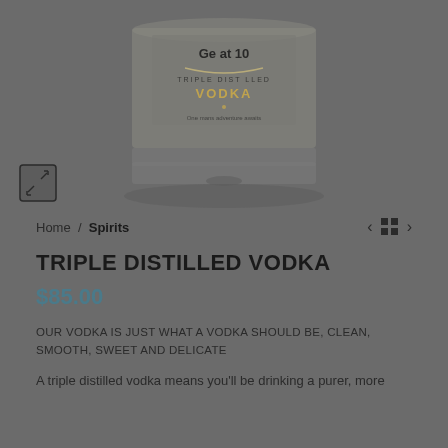[Figure (photo): Bottom portion of a triple distilled vodka bottle with label visible, on a gray background, with an expand/fullscreen icon in the lower left corner]
Home / Spirits
TRIPLE DISTILLED VODKA
$85.00
OUR VODKA IS JUST WHAT A VODKA SHOULD BE, CLEAN, SMOOTH, SWEET AND DELICATE
A triple distilled vodka means you'll be drinking a purer, more